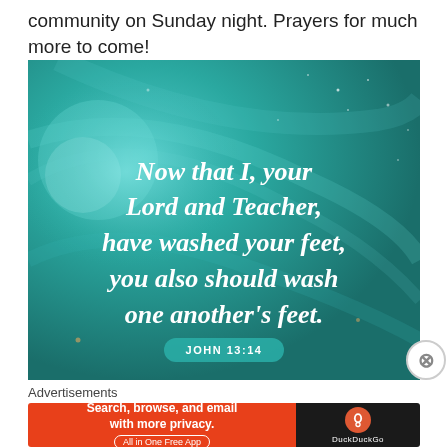community on Sunday night. Prayers for much more to come!
[Figure (illustration): Teal/turquoise swirled abstract background with white serif text reading: 'Now that I, your Lord and Teacher, have washed your feet, you also should wash one another's feet.' with a pill badge below reading 'JOHN 13:14']
Advertisements
[Figure (screenshot): DuckDuckGo advertisement banner: orange left section with text 'Search, browse, and email with more privacy. All in One Free App' and dark right section with DuckDuckGo logo and brand name]